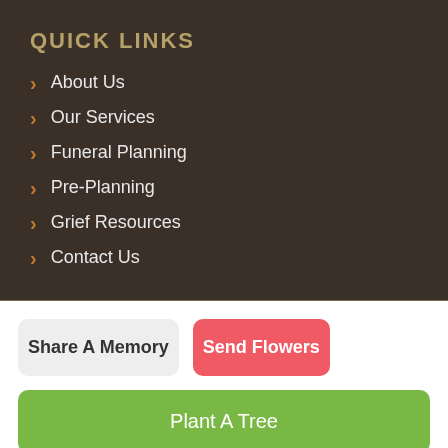QUICK LINKS
About Us
Our Services
Funeral Planning
Pre-Planning
Grief Resources
Contact Us
Share A Memory
Send Flowers
Plant A Tree